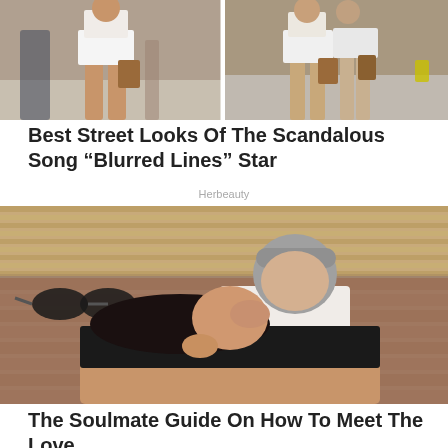[Figure (photo): Two side-by-side street photos of a woman in a white dress carrying a brown bag, walking on a city street]
Best Street Looks Of The Scandalous Song “Blurred Lines” Star
Herbeauty
[Figure (photo): A couple kissing outdoors near a brick wall, man with grey hair in white shirt, woman with dark hair reclining]
The Soulmate Guide On How To Meet The Love